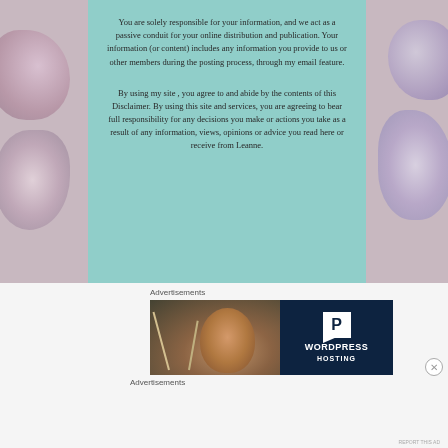You are solely responsible for your information, and we act as a passive conduit for your online distribution and publication. Your information (or content) includes any information you provide to us or other members during the posting process, through my email feature.
By using my site , you agree to and abide by the contents of this Disclaimer. By using this site and services, you are agreeing to bear full responsibility for any decisions you make or actions you take as a result of any information, views, opinions or advice you read here or receive from Leanne.
Advertisements
[Figure (photo): Advertisement banner for WordPress Hosting, showing a smiling woman in a cafe/restaurant setting on the left half and a dark navy background with a 'P' logo and 'WORDPRESS HOSTING' text on the right half.]
Advertisements